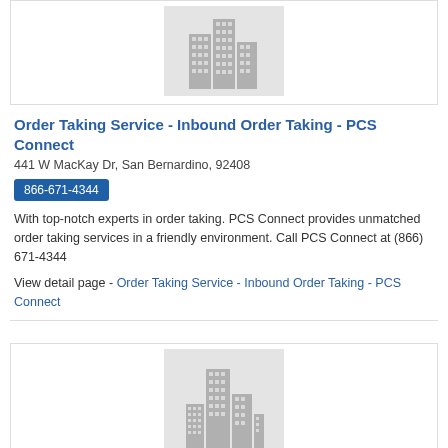[Figure (illustration): Building/cityscape icon on light grey background, top card image]
Order Taking Service - Inbound Order Taking - PCS Connect
441 W MacKay Dr, San Bernardino, 92408
866-671-4344
With top-notch experts in order taking. PCS Connect provides unmatched order taking services in a friendly environment. Call PCS Connect at (866) 671-4344
View detail page - Order Taking Service - Inbound Order Taking - PCS Connect
[Figure (illustration): Building/cityscape icon on light grey background, bottom card image]